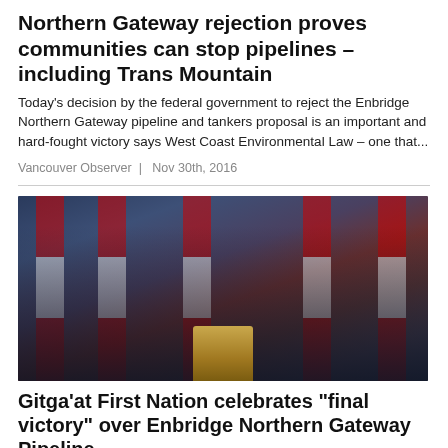Northern Gateway rejection proves communities can stop pipelines – including Trans Mountain
Today's decision by the federal government to reject the Enbridge Northern Gateway pipeline and tankers proposal is an important and hard-fought victory says West Coast Environmental Law – one that...
Vancouver Observer  |  Nov 30th, 2016
[Figure (photo): Photo of a group of people standing at a podium with Canadian flags in the background, appearing to be a government press conference.]
Gitga'at First Nation celebrates "final victory" over Enbridge Northern Gateway Pipeline